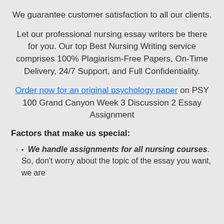We guarantee customer satisfaction to all our clients.
Let our professional nursing essay writers be there for you. Our top Best Nursing Writing service comprises 100% Plagiarism-Free Papers, On-Time Delivery, 24/7 Support, and Full Confidentiality.
Order now for an original psychology paper on PSY 100 Grand Canyon Week 3 Discussion 2 Essay Assignment
Factors that make us special:
We handle assignments for all nursing courses. So, don't worry about the topic of the essay you want, we are